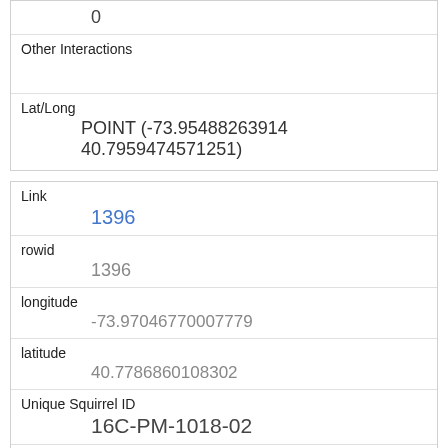| (field label cut off) | 0 |
| Other Interactions |  |
| Lat/Long | POINT (-73.95488263914 40.7959474571251) |
| Link | 1396 |
| rowid | 1396 |
| longitude | -73.97046770007779 |
| latitude | 40.7786860108302 |
| Unique Squirrel ID | 16C-PM-1018-02 |
| Hectare | 16C |
| Shift | PM |